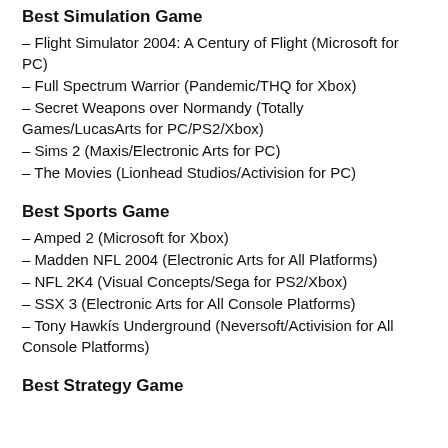Best Simulation Game
– Flight Simulator 2004: A Century of Flight (Microsoft for PC)
– Full Spectrum Warrior (Pandemic/THQ for Xbox)
– Secret Weapons over Normandy (Totally Games/LucasArts for PC/PS2/Xbox)
– Sims 2 (Maxis/Electronic Arts for PC)
– The Movies (Lionhead Studios/Activision for PC)
Best Sports Game
– Amped 2 (Microsoft for Xbox)
– Madden NFL 2004 (Electronic Arts for All Platforms)
– NFL 2K4 (Visual Concepts/Sega for PS2/Xbox)
– SSX 3 (Electronic Arts for All Console Platforms)
– Tony Hawkís Underground (Neversoft/Activision for All Console Platforms)
Best Strategy Game